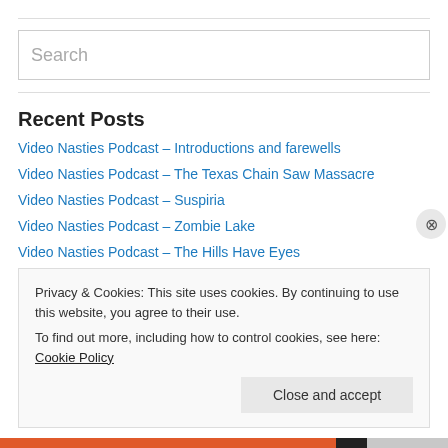Search
Recent Posts
Video Nasties Podcast – Introductions and farewells
Video Nasties Podcast – The Texas Chain Saw Massacre
Video Nasties Podcast – Suspiria
Video Nasties Podcast – Zombie Lake
Video Nasties Podcast – The Hills Have Eyes
Privacy & Cookies: This site uses cookies. By continuing to use this website, you agree to their use. To find out more, including how to control cookies, see here: Cookie Policy
Close and accept